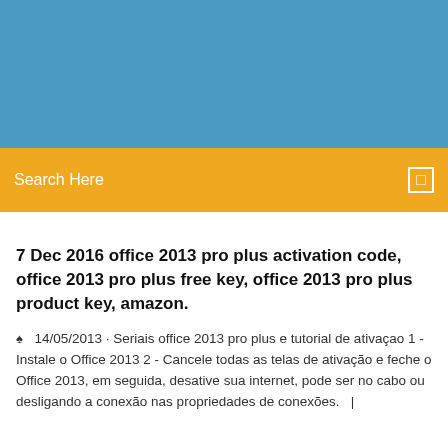[Figure (other): Blue header banner background]
Search Here
7 Dec 2016 office 2013 pro plus activation code, office 2013 pro plus free key, office 2013 pro plus product key, amazon.
14/05/2013 · Seriais office 2013 pro plus e tutorial de ativaçao 1 - Instale o Office 2013 2 - Cancele todas as telas de ativação e feche o Office 2013, em seguida, desative sua internet, pode ser no cabo ou desligando a conexão nas propriedades de conexões.  |